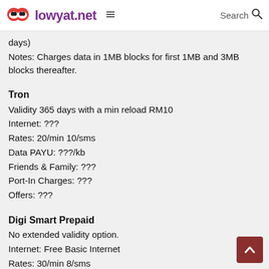lowyat.net  Search
days)
Notes: Charges data in 1MB blocks for first 1MB and 3MB blocks thereafter.
Tron
Validity 365 days with a min reload RM10
Internet: ???
Rates: 20/min 10/sms
Data PAYU: ???/kb
Friends & Family: ???
Port-In Charges: ???
Offers: ???
Digi Smart Prepaid
No extended validity option.
Internet: Free Basic Internet
Rates: 30/min 8/sms
Data PAYU: NA
Friends & Family: Smart Buddyz: Unlimited calls/sms to 3
Port-In Charges: ???